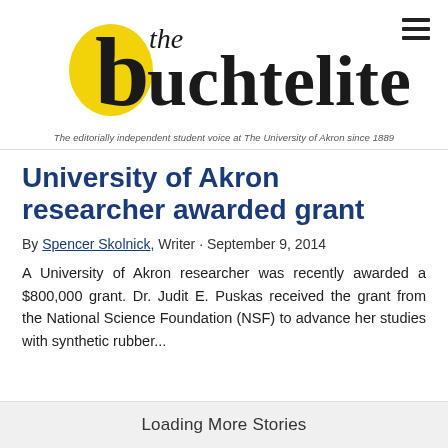[Figure (logo): The Buchtelite newspaper logo with yellow circle 'b' emblem and hamburger menu icon]
The editorially independent student voice at The University of Akron since 1889
University of Akron researcher awarded grant
By Spencer Skolnick, Writer • September 9, 2014
A University of Akron researcher was recently awarded a $800,000 grant. Dr. Judit E. Puskas received the grant from the National Science Foundation (NSF) to advance her studies with synthetic rubber...
Loading More Stories